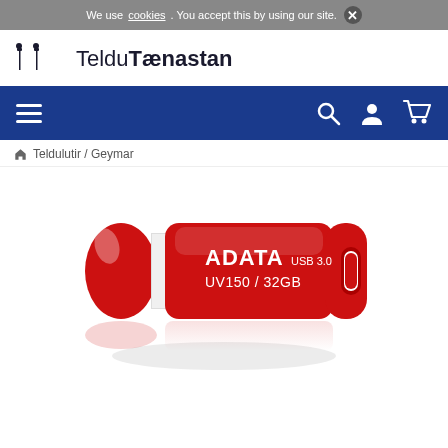We use cookies. You accept this by using our site. ×
[Figure (logo): TelduTænastan logo with two stylized T letters and dotted accents]
[Figure (screenshot): Blue navigation bar with hamburger menu icon on the left and search, user, and shopping cart icons on the right]
🏠 Teldulutir / Geymar
[Figure (photo): ADATA UV150 32GB USB 3.0 flash drive in red color with reflection below]